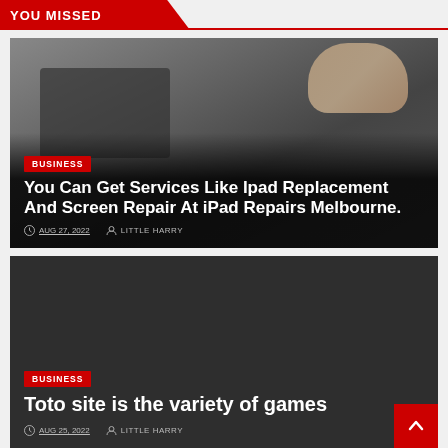YOU MISSED
[Figure (photo): Person repairing an iPad or tablet device, hands with tools visible on a desk]
BUSINESS
You Can Get Services Like Ipad Replacement And Screen Repair At iPad Repairs Melbourne.
AUG 27, 2022   LITTLE HARRY
[Figure (photo): Dark background card with no visible photo content]
BUSINESS
Toto site is the variety of games
AUG 25, 2022   LITTLE HARRY